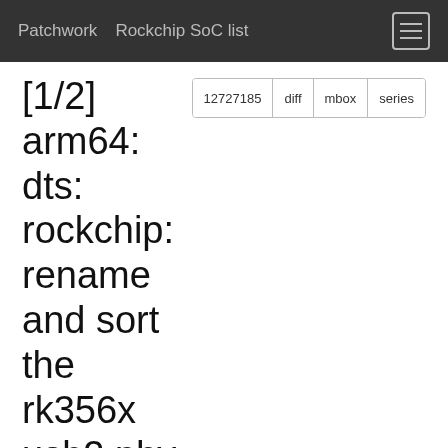Patchwork   Rockchip SoC list
[1/2] arm64: dts: rockchip: rename and sort the rk356x usb2 phy handles
| Message ID | 20220127190456.2195527-1-michael.riesch@wolfvision.net (mailing list archive) |
| State | New, archived |
| Headers | show |
| Series | [1/2] arm64: dts: rockchip: rename and sort the rk356x usb2 phy handles | expand |
Commit Message